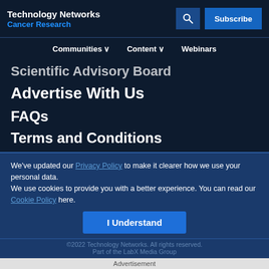Technology Networks
Cancer Research
Communities ∨   Content ∨   Webinars
Scientific Advisory Board
Advertise With Us
FAQs
Terms and Conditions
We've updated our Privacy Policy to make it clearer how we use your personal data.
We use cookies to provide you with a better experience. You can read our Cookie Policy here.
I Understand
©2022 Technology Networks. All rights reserved.
Part of the LabX Media Group
Advertisement
[Figure (infographic): SinoBiological advertisement banner: IL-7: A Modulator of T and B Cell Development with Learn More button]